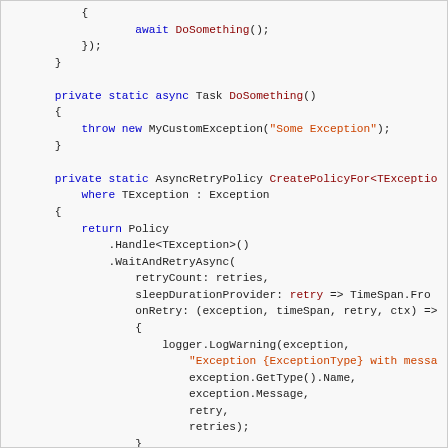[Figure (screenshot): Code snippet showing C# async code with DoSomething method throwing MyCustomException, and a CreatePolicyFor generic method returning a Polly retry policy with WaitAndRetryAsync, logging warnings on retry.]